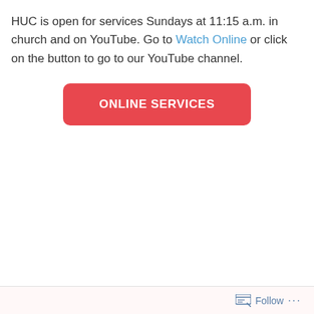HUC is open for services Sundays at 11:15 a.m. in church and on YouTube. Go to Watch Online or click on the button to go to our YouTube channel.
[Figure (other): A red rounded-rectangle button with white bold uppercase text reading 'ONLINE SERVICES']
Follow ···